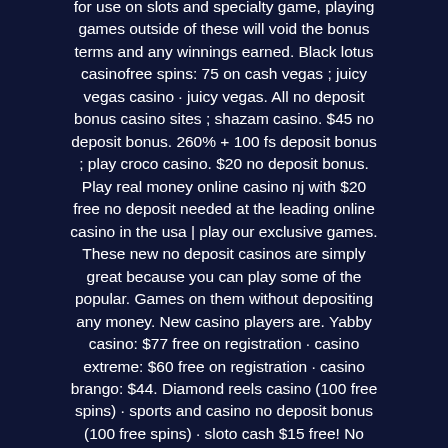for use on slots and specialty game, playing games outside of these will void the bonus terms and any winnings earned. Black lotus casinofree spins: 75 on cash vegas ; juicy vegas casino · juicy vegas. All no deposit bonus casino sites ; shazam casino. $45 no deposit bonus. 260% + 100 fs deposit bonus ; play croco casino. $20 no deposit bonus. Play real money online casino nj with $20 free no deposit needed at the leading online casino in the usa | play our exclusive games. These new no deposit casinos are simply great because you can play some of the popular. Games on them without depositing any money. New casino players are. Yabby casino: $77 free on registration · casino extreme: $60 free on registration · casino brango: $44. Diamond reels casino (100 free spins) · sports and casino no deposit bonus (100 free spins) · sloto cash $15 free! No deposits or no deposit bonus codes are bonuses that are provided to players by